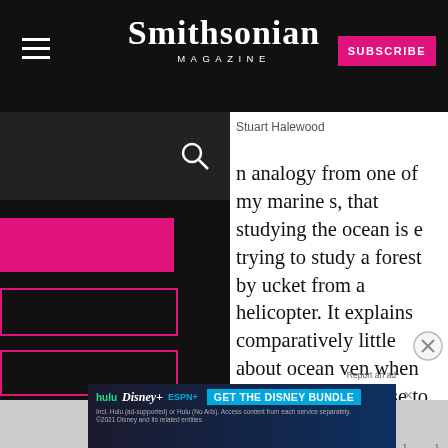Smithsonian Magazine
Stuart Halewood
n analogy from one of my marine s, that studying the ocean is e trying to study a forest by ucket from a helicopter. It explains comparatively little about ocean ven when they're situated close to as of land, like the forests of giant
stis pyrifera) in the Santa Barbara
cause they provide food and
[Figure (screenshot): Disney Bundle advertisement banner with Hulu, Disney+, ESPN+ logos and GET THE DISNEY BUNDLE call to action]